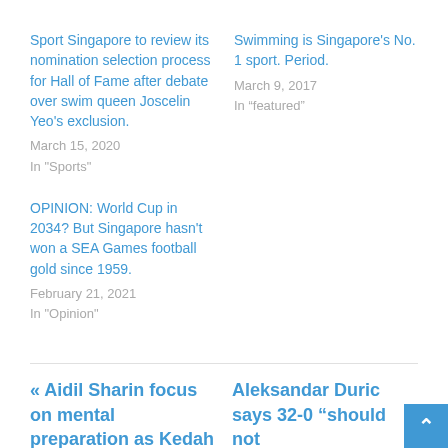Sport Singapore to review its nomination selection process for Hall of Fame after debate over swim queen Joscelin Yeo's exclusion.
March 15, 2020
In "Sports"
Swimming is Singapore's No. 1 sport. Period.
March 9, 2017
In “featured”
OPINION: World Cup in 2034? But Singapore hasn't won a SEA Games football gold since 1959.
February 21, 2021
In "Opinion"
« Aidil Sharin focus on mental preparation as Kedah aim for Champions
Aleksandar Duric says 32-0 “should not